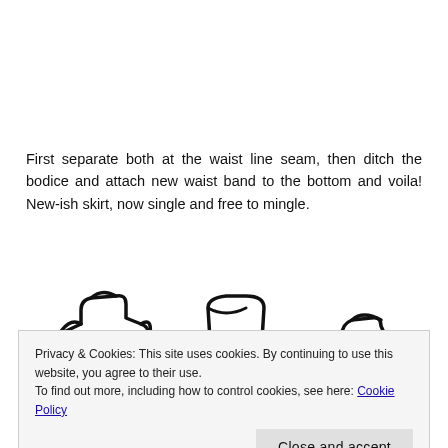First separate both at the waist line seam, then ditch the bodice and attach new waist band to the bottom and voila! New-ish skirt, now single and free to mingle.
[Figure (illustration): Hand-drawn illustration showing a bodice piece plus a skirt piece equals a combined dress/skirt garment, using simple line drawings with + and = symbols.]
Privacy & Cookies: This site uses cookies. By continuing to use this website, you agree to their use.
To find out more, including how to control cookies, see here: Cookie Policy